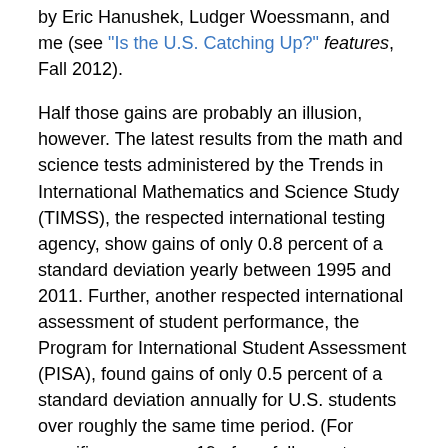by Eric Hanushek, Ludger Woessmann, and me (see "Is the U.S. Catching Up?" features, Fall 2012).
Half those gains are probably an illusion, however. The latest results from the math and science tests administered by the Trends in International Mathematics and Science Study (TIMSS), the respected international testing agency, show gains of only 0.8 percent of a standard deviation yearly between 1995 and 2011. Further, another respected international assessment of student performance, the Program for International Student Assessment (PISA), found gains of only 0.5 percent of a standard deviation annually for U.S. students over roughly the same time period. (For specifics, see page 19 of our full report, Achievement Growth: International and U.S. State Trends in Student Performance [PEPG, 2012].)
In other words, NAEP has been identifying gains that are somewhere between two and three times as large as those recorded by two respected international testing agencies that do not have a political stake in showing rising levels of